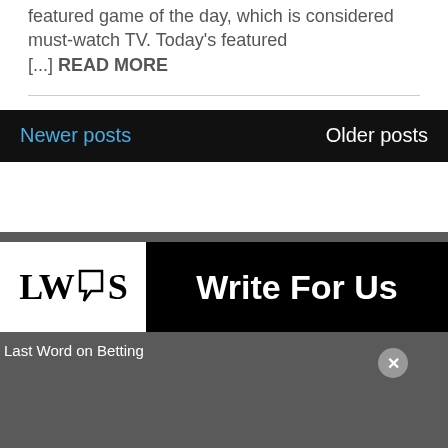featured game of the day, which is considered must-watch TV. Today's featured [...] READ MORE
Newer posts   Older posts
[Figure (logo): LWoS logo with megaphone icon and 'Write For Us' banner on black background]
Last Word on Betting